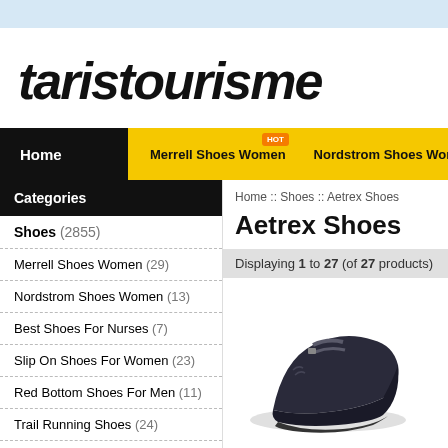taristourisme
Home | Merrell Shoes Women | Nordstrom Shoes Women | Slip O
Categories
Shoes (2855)
Merrell Shoes Women (29)
Nordstrom Shoes Women (13)
Best Shoes For Nurses (7)
Slip On Shoes For Women (23)
Red Bottom Shoes For Men (11)
Trail Running Shoes (24)
Home :: Shoes :: Aetrex Shoes
Aetrex Shoes
Displaying 1 to 27 (of 27 products)
[Figure (photo): Dark navy/black women's wedge shoe (Aetrex brand) with strap detail]